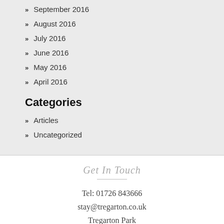» September 2016
» August 2016
» July 2016
» June 2016
» May 2016
» April 2016
Categories
» Articles
» Uncategorized
Get In Touch
Tel: 01726 843666
stay@tregarton.co.uk
Tregarton Park
Gorran
St. Austell